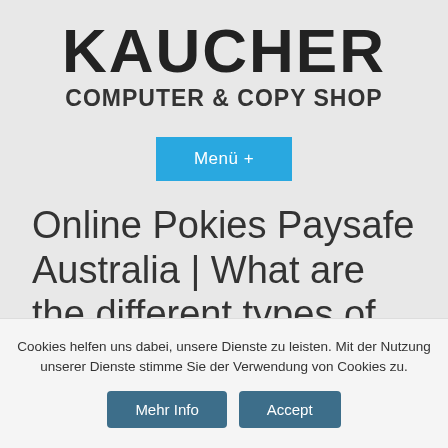KAUCHER
COMPUTER & COPY SHOP
Menü +
Online Pokies Paysafe Australia | What are the different types of online
Cookies helfen uns dabei, unsere Dienste zu leisten. Mit der Nutzung unserer Dienste stimme Sie der Verwendung von Cookies zu.
Mehr Info   Accept